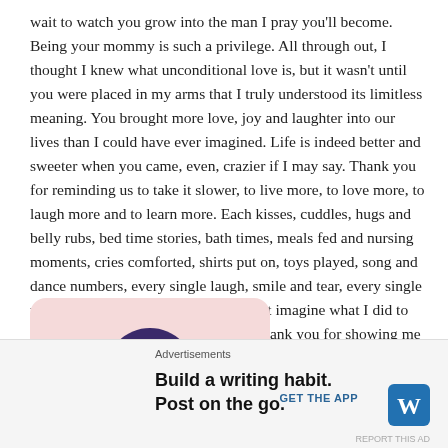wait to watch you grow into the man I pray you'll become. Being your mommy is such a privilege. All through out, I thought I knew what unconditional love is, but it wasn't until you were placed in my arms that I truly understood its limitless meaning. You brought more love, joy and laughter into our lives than I could have ever imagined. Life is indeed better and sweeter when you came, even, crazier if I may say. Thank you for reminding us to take it slower, to live more, to love more, to laugh more and to learn more. Each kisses, cuddles, hugs and belly rubs, bed time stories, bath times, meals fed and nursing moments, cries comforted, shirts put on, toys played, song and dance numbers, every single laugh, smile and tear, every single moment has been a blessing and I can't imagine what I did to get so lucky to have you in my life. Thank you for showing me how amazing life can truly be.
[Figure (photo): Photo of a person with dark hair, shown from the shoulders up, against a pink/blush rounded rectangle background.]
Advertisements
Build a writing habit. Post on the go.
GET THE APP